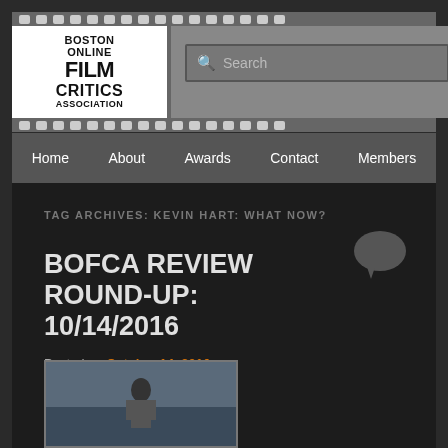[Figure (logo): Boston Online Film Critics Association logo with filmstrip design header and search bar]
Home  About  Awards  Contact  Members
TAG ARCHIVES: KEVIN HART: WHAT NOW?
BOFCA REVIEW ROUND-UP: 10/14/2016
Posted on October 14, 2016
[Figure (photo): Movie still thumbnail showing a person in suit near water]